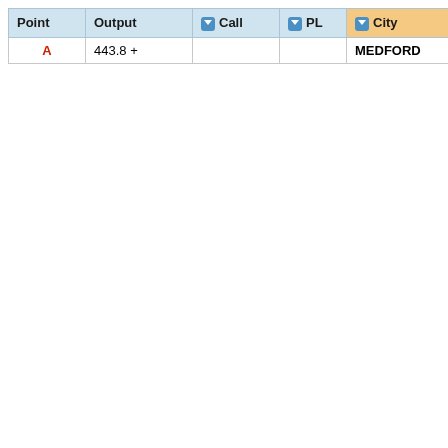| Point | Output | Call | PL | City | State | Show | Co |
| --- | --- | --- | --- | --- | --- | --- | --- |
| A | 443.8 + |  |  | MEDFORD | Oregon | Local |  |